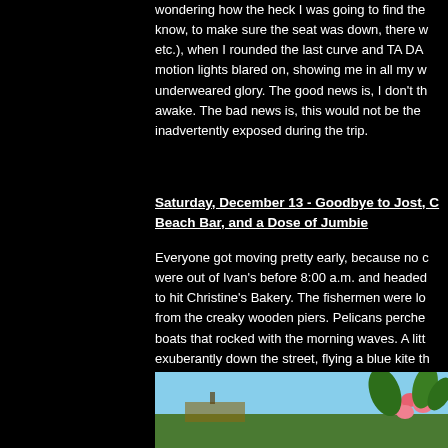wondering how the heck I was going to find the know, to make sure the seat was down, there w etc.), when I rounded the last curve and TA DA motion lights blared on, showing me in all my w underweared glory. The good news is, I don't th awake. The bad news is, this would not be the inadvertently exposed during the trip.
Saturday, December 13 - Goodbye to Jost, C Beach Bar, and a Dose of Jumbie
Everyone got moving pretty early, because no c were out of Ivan's before 8:00 a.m. and headed to hit Christine's Bakery. The fishermen were lo from the creaky wooden piers. Pelicans perche boats that rocked with the morning waves. A litt exuberantly down the street, flying a blue kite th morning air. Everyone I passed waved and smi "Good morning. How are you today?"
[Figure (photo): Partial photo showing tropical scene with blue sky, green foliage and pink flowers at the bottom of the page]